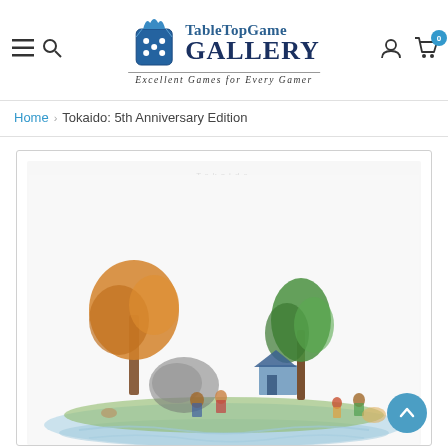[Figure (logo): TableTopGame Gallery logo with dice icon. Text: 'TableTopGame GALLERY - Excellent Games for Every Gamer']
Home › Tokaido: 5th Anniversary Edition
[Figure (photo): Product image of Tokaido 5th Anniversary Edition board game showing illustrated characters on a Japanese landscape island scene, blurred/loading state.]